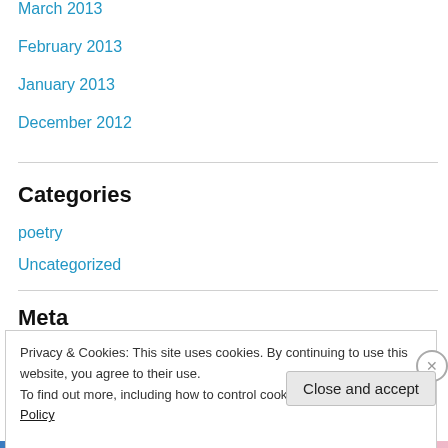March 2013
February 2013
January 2013
December 2012
Categories
poetry
Uncategorized
Meta
Privacy & Cookies: This site uses cookies. By continuing to use this website, you agree to their use. To find out more, including how to control cookies, see here: Cookie Policy
Close and accept